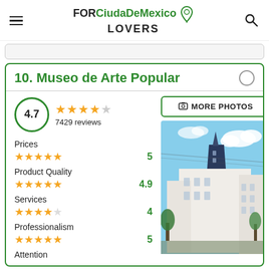FOR CiudaDeMexico LOVERS
10. Museo de Arte Popular
4.7 — 7429 reviews
Prices — 5 stars — 5
Product Quality — 4.9 stars — 4.9
Services — 4 stars — 4
Professionalism — 5 stars — 5
Attention
[Figure (photo): Exterior photo of Museo de Arte Popular building — a white Art Deco-style building with a pointed tower, blue roof accents, and trees in the foreground under a blue sky with clouds.]